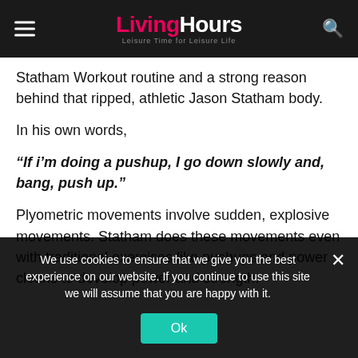LivingHours — Leisure Time for Leisure Life
Statham Workout routine and a strong reason behind that ripped, athletic Jason Statham body.
In his own words,
“If i’m doing a pushup, I go down slowly and, bang, push up.”
Plyometric movements involve sudden, explosive movements. Statham does these movements even with traditional exercises like pushups and power cleans to develop power and strength.
We use cookies to ensure that we give you the best experience on our website. If you continue to use this site we will assume that you are happy with it.